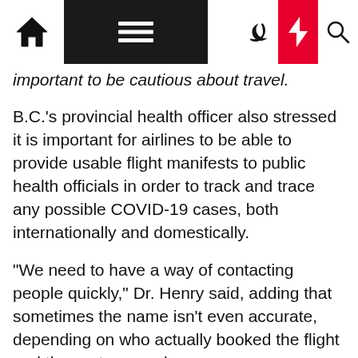Nav bar with home, menu, moon, bolt, search icons
important to be cautious about travel.
B.C.'s provincial health officer also stressed it is important for airlines to be able to provide usable flight manifests to public health officials in order to track and trace any possible COVID-19 cases, both internationally and domestically.
“We need to have a way of contacting people quickly,” Dr. Henry said, adding that sometimes the name isn’t even accurate, depending on who actually booked the flight and the system used.
‘Masks are safe to wear’
As some jurisdictions implement mandatory mask wearing rules, B.C.'s provincial health officer stressed that transit is one area where everyone should be wearing a mask, if they can.